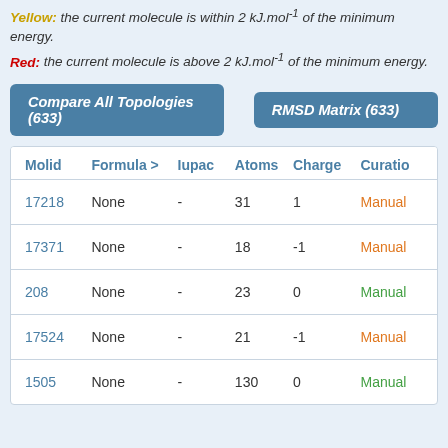Yellow: the current molecule is within 2 kJ.mol⁻¹ of the minimum energy.
Red: the current molecule is above 2 kJ.mol⁻¹ of the minimum energy.
[Figure (screenshot): Two buttons: 'Compare All Topologies (633)' and 'RMSD Matrix (633)']
| Molid | Formula > | Iupac | Atoms | Charge | Curation |
| --- | --- | --- | --- | --- | --- |
| 17218 | None | - | 31 | 1 | Manual |
| 17371 | None | - | 18 | -1 | Manual |
| 208 | None | - | 23 | 0 | Manual |
| 17524 | None | - | 21 | -1 | Manual |
| 1505 | None | - | 130 | 0 | Manual |